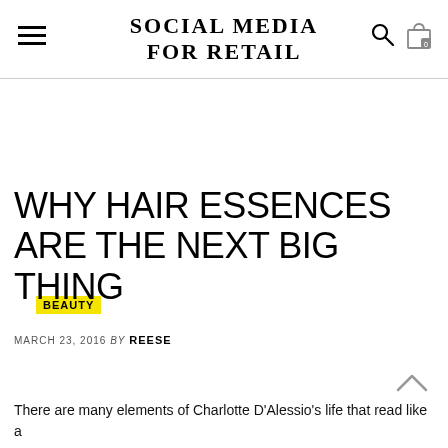SOCIAL MEDIA FOR RETAIL
BEAUTY
WHY HAIR ESSENCES ARE THE NEXT BIG THING
MARCH 23, 2016 BY REESE
There are many elements of Charlotte D'Alessio's life that read like a